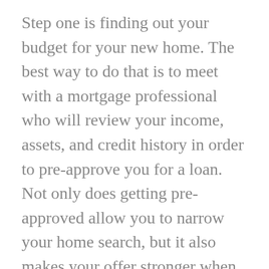Step one is finding out your budget for your new home. The best way to do that is to meet with a mortgage professional who will review your income, assets, and credit history in order to pre-approve you for a loan. Not only does getting pre-approved allow you to narrow your home search, but it also makes your offer stronger when it comes time to buy. If you don't currently have a lender, I would be happy to recommend one.